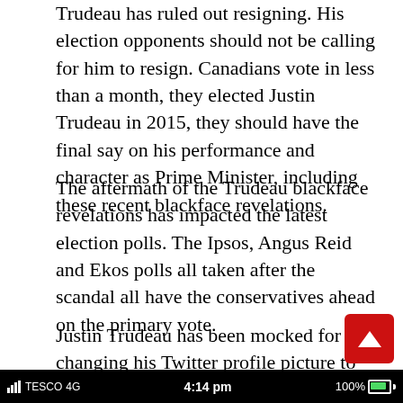Trudeau has ruled out resigning. His election opponents should not be calling for him to resign. Canadians vote in less than a month, they elected Justin Trudeau in 2015, they should have the final say on his performance and character as Prime Minister, including these recent blackface revelations.
The aftermath of the Trudeau blackface revelations has impacted the latest election polls. The Ipsos, Angus Reid and Ekos polls all taken after the scandal all have the conservatives ahead on the primary vote.
Justin Trudeau has been mocked for changing his Twitter profile picture to sitting next to a faceless black man. Many joked about which man was Trudeau, given how common it now seems for him to be in blackface.
[Figure (screenshot): Mobile phone status bar showing TESCO 4G carrier, 4:14 pm time, and 100% battery level on a dark background]